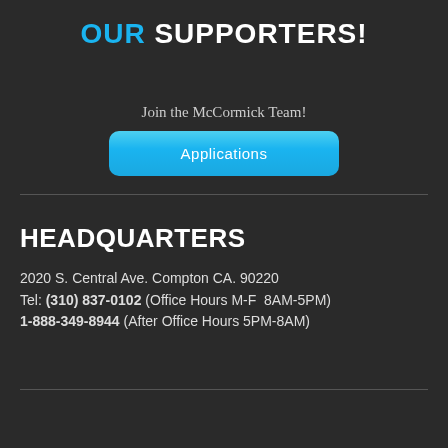OUR SUPPORTERS!
Join the McCormick Team!
Applications
HEADQUARTERS
2020 S. Central Ave. Compton CA. 90220
Tel: (310) 837-0102 (Office Hours M-F  8AM-5PM)
1-888-349-8944 (After Office Hours 5PM-8AM)